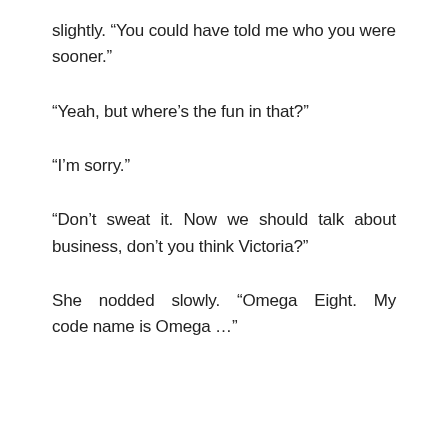slightly. “You could have told me who you were sooner.”
“Yeah, but where’s the fun in that?”
“I’m sorry.”
“Don’t sweat it. Now we should talk about business, don’t you think Victoria?”
She nodded slowly. “Omega Eight. My code name is Omega …”